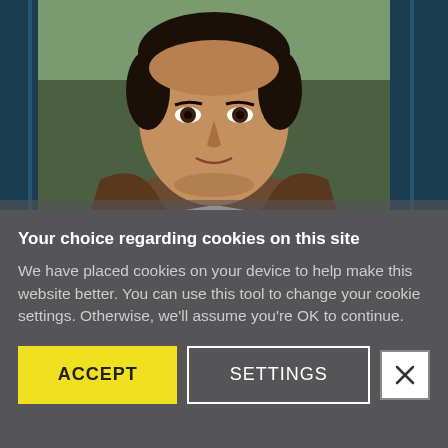[Figure (photo): Portrait photo of a young man with dark hair, wearing a brown jacket over a white shirt, photographed outdoors against a blurred green/blue background. The image is framed with dark teal/blue side panels.]
Your choice regarding cookies on this site
We have placed cookies on your device to help make this website better. You can use this tool to change your cookie settings. Otherwise, we'll assume you're OK to continue.